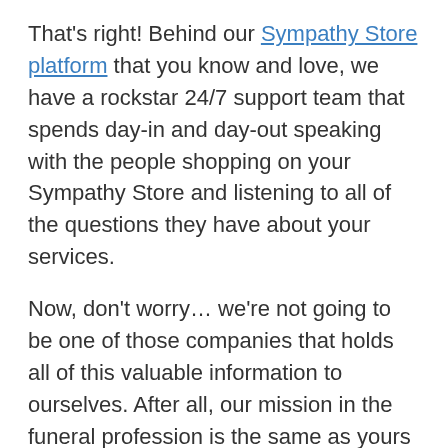That's right! Behind our Sympathy Store platform that you know and love, we have a rockstar 24/7 support team that spends day-in and day-out speaking with the people shopping on your Sympathy Store and listening to all of the questions they have about your services.
Now, don't worry… we're not going to be one of those companies that holds all of this valuable information to ourselves. After all, our mission in the funeral profession is the same as yours – to help deliver an amazing experience to everyone you meet. That's why we have collected some of our most-asked questions from the people visiting your website.
Hopefully this article will give you some insight into how you can improve the experience that...